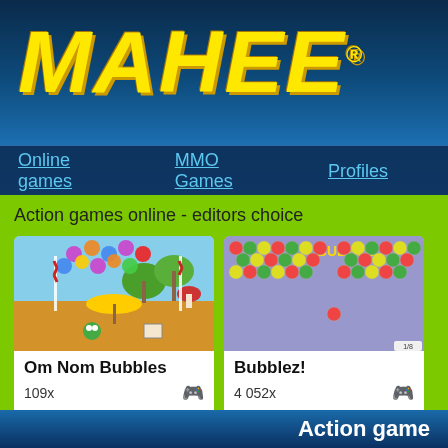[Figure (logo): MAHEE logo in bold yellow italic text on dark blue gradient background with registered trademark symbol]
Online games   MMO Games   Profiles
Action games online - editors choice
[Figure (screenshot): Om Nom Bubbles game screenshot showing colorful bubbles in tropical scene]
Om Nom Bubbles
109x
[Figure (screenshot): Bubblez! game screenshot showing colorful hex bubbles on purple background with BUBBLE text]
Bubblez!
4 052x
[Figure (screenshot): Hexpl game screenshot partially visible showing stones and x16 multiplier]
Hexpl
437x
Action game